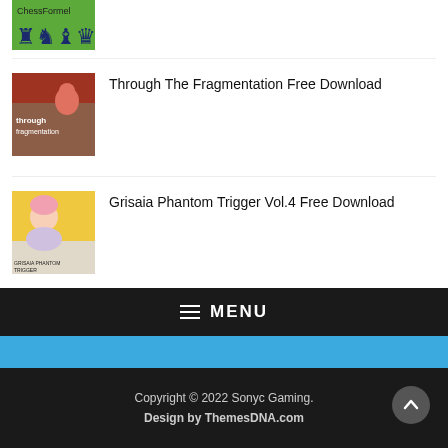[Figure (photo): Chess game thumbnail (partially visible at top)]
[Figure (photo): Through The Fragmentation game cover - red anime character with through fragmentation text]
Through The Fragmentation Free Download
[Figure (photo): Grisaia Phantom Trigger Vol.4 game cover - anime character with yellow background]
Grisaia Phantom Trigger Vol.4 Free Download
MENU
Copyright © 2022 Sonyc Gaming.
Design by ThemesDNA.com